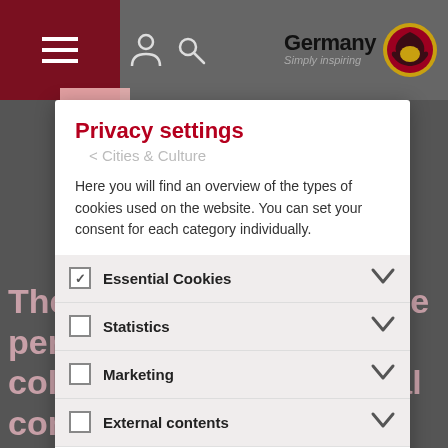[Figure (screenshot): Germany tourism website header with dark red navigation bar on left, hamburger menu icon, location and search icons, Germany Simply inspiring logo with eagle emblem on right]
Privacy settings
< Cities & Culture
Here you will find an overview of the types of cookies used on the website. You can set your consent for each category individually.
Cities & Culture
Essential Cookies
Art Collection NRW K21 Ständehaus Düsseldorf
Statistics
Marketing
External contents
The old Ständehaus is the perfect setting for a collection of international contemporary art
Save settings